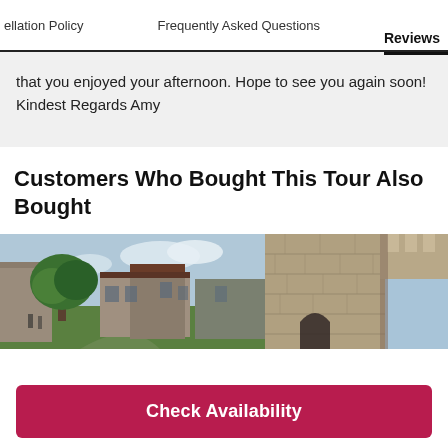Cancellation Policy | Frequently Asked Questions | Reviews
that you enjoyed your afternoon. Hope to see you again soon! Kindest Regards Amy
Customers Who Bought This Tour Also Bought
[Figure (photo): Exterior view of historic stone buildings with a large green tree in the foreground and a grassy courtyard]
[Figure (photo): Close-up view of a stone castle wall with battlements against a blue sky]
Check Availability